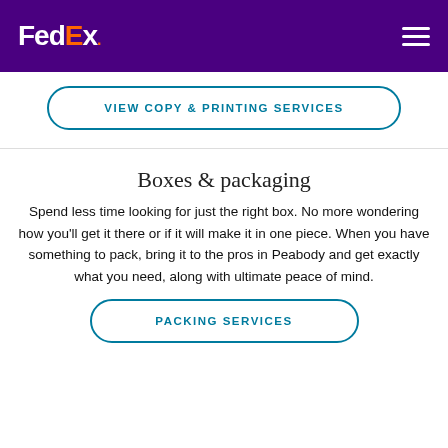FedEx
VIEW COPY & PRINTING SERVICES
Boxes & packaging
Spend less time looking for just the right box. No more wondering how you'll get it there or if it will make it in one piece. When you have something to pack, bring it to the pros in Peabody and get exactly what you need, along with ultimate peace of mind.
PACKING SERVICES